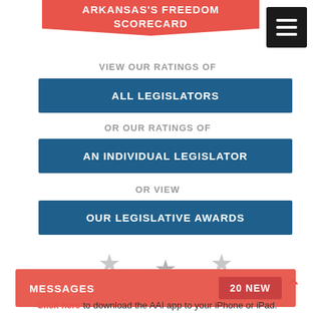ARKANSAS'S FREEDOM SCORECARD
VIEW OUR RATINGS OF
ALL LEGISLATORS
OR OUR RATINGS OF
AN INDIVIDUAL LEGISLATOR
OR VIEW
OUR LEGISLATIVE AWARDS
[Figure (illustration): Three decorative gray stars arranged in a triangle pattern]
MESSAGES  20 NEW
Click here to download the AAI app to your iPhone or iPad.